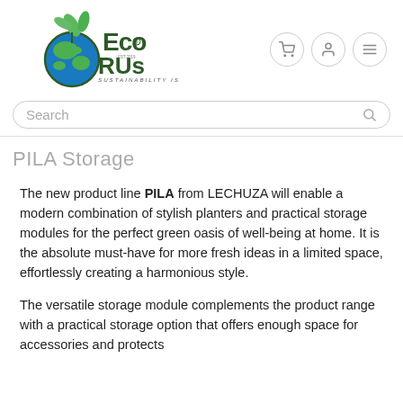[Figure (logo): Eco R Us logo with globe and green leaves, tagline: SUSTAINABILITY IS THE KEY]
Search
PILA Storage
The new product line PILA from LECHUZA will enable a modern combination of stylish planters and practical storage modules for the perfect green oasis of well-being at home. It is the absolute must-have for more fresh ideas in a limited space, effortlessly creating a harmonious style.
The versatile storage module complements the product range with a practical storage option that offers enough space for accessories and protects